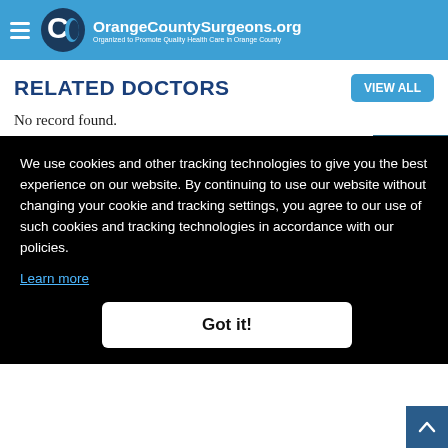OrangeCountySurgeons.org — Organized to Promote Quality Health Care in Orange County
RELATED DOCTORS
No record found.
Advertisement
We use cookies and other tracking technologies to give you the best experience on our website. By continuing to use our website without changing your cookie and tracking settings, you agree to our use of such cookies and tracking technologies in accordance with our policies. Learn more
Got it!